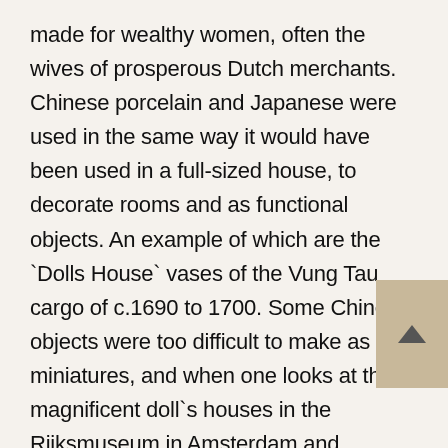made for wealthy women, often the wives of prosperous Dutch merchants. Chinese porcelain and Japanese were used in the same way it would have been used in a full-sized house, to decorate rooms and as functional objects. An example of which are the `Dolls House` vases of the Vung Tau cargo of c.1690 to 1700. Some Chinese objects were too difficult to make as miniatures, and when one looks at the magnificent doll`s houses in the Rijksmuseum in Amsterdam and elsewhere in Holland you can see specially commissioned white Bohemian glass with trailed blue decoration was used to imitate Chinese porcelain.